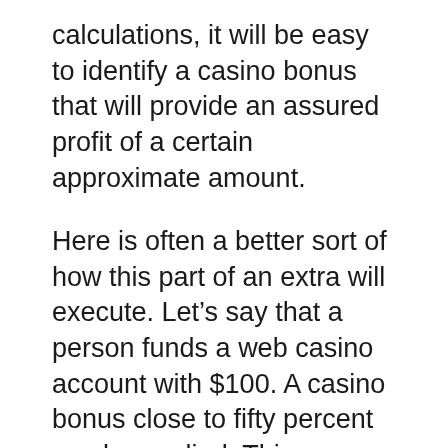calculations, it will be easy to identify a casino bonus that will provide an assured profit of a certain approximate amount.
Here is often a better sort of how this part of an extra will execute. Let's say that a person funds a web casino account with $100. A casino bonus close to fifty percent can be applied. This means that this additional $50 will be added in to one's account. Overall value of the things a person has their account will now be $150. There seem no questions asked associated to if the benefit particular is legal.
One of this fine offerings in Casino Tropez is Loyalty. Its Loyalty Program allows in order to make utilization of larger offers. Regular cash